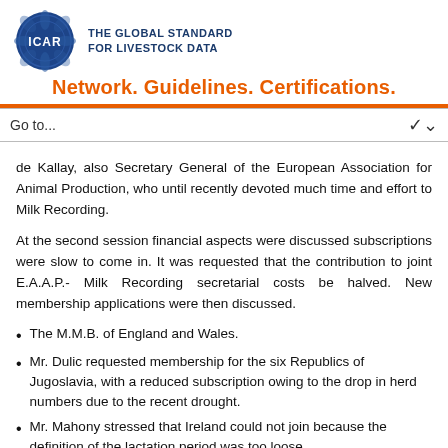ICAR — THE GLOBAL STANDARD FOR LIVESTOCK DATA
Network. Guidelines. Certifications.
de Kallay, also Secretary General of the European Association for Animal Production, who until recently devoted much time and effort to Milk Recording.
At the second session financial aspects were discussed subscriptions were slow to come in. It was requested that the contribution to joint E.A.A.P.- Milk Recording secretarial costs be halved. New membership applications were then discussed.
The M.M.B. of England and Wales.
Mr. Dulic requested membership for the six Republics of Jugoslavia, with a reduced subscription owing to the drop in herd numbers due to the recent drought.
Mr. Mahony stressed that Ireland could not join because the definition of the lactation period was too loose.